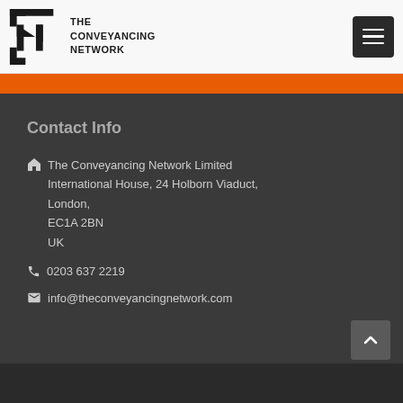[Figure (logo): The Conveyancing Network logo with geometric N icon and text THE CONVEYANCING NETWORK]
Contact Info
The Conveyancing Network Limited
International House, 24 Holborn Viaduct,
London,
EC1A 2BN
UK
0203 637 2219
info@theconveyancingnetwork.com